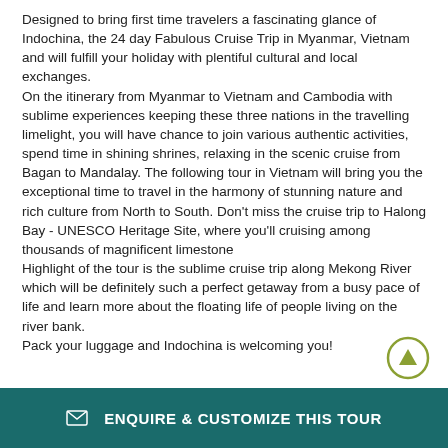Designed to bring first time travelers a fascinating glance of Indochina, the 24 day Fabulous Cruise Trip in Myanmar, Vietnam and will fulfill your holiday with plentiful cultural and local exchanges.
On the itinerary from Myanmar to Vietnam and Cambodia with sublime experiences keeping these three nations in the travelling limelight, you will have chance to join various authentic activities, spend time in shining shrines, relaxing in the scenic cruise from Bagan to Mandalay. The following tour in Vietnam will bring you the exceptional time to travel in the harmony of stunning nature and rich culture from North to South. Don't miss the cruise trip to Halong Bay - UNESCO Heritage Site, where you'll cruising among thousands of magnificent limestone
Highlight of the tour is the sublime cruise trip along Mekong River which will be definitely such a perfect getaway from a busy pace of life and learn more about the floating life of people living on the river bank.
Pack your luggage and Indochina is welcoming you!
[Figure (other): Circular scroll-to-top button with an olive/yellow-green border and upward-pointing triangle arrow]
ENQUIRE & CUSTOMIZE THIS TOUR